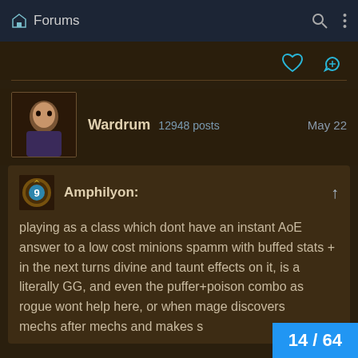Forums
Wardrum 12948 posts  May 22
Amphilyon: playing as a class which dont have an instant AoE answer to a low cost minions spamm with buffed stats + in the next turns divine and taunt effects on it, is a literally GG, and even the puffer+poison combo as rogue wont help here, or when mage discovers mechs after mechs and makes s
14 / 64